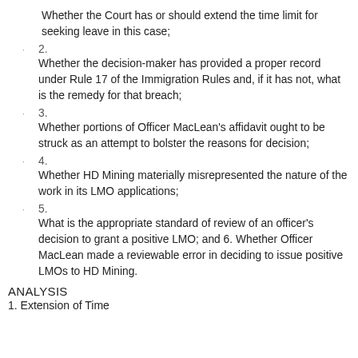Whether the Court has or should extend the time limit for seeking leave in this case;
2. Whether the decision-maker has provided a proper record under Rule 17 of the Immigration Rules and, if it has not, what is the remedy for that breach;
3. Whether portions of Officer MacLean's affidavit ought to be struck as an attempt to bolster the reasons for decision;
4. Whether HD Mining materially misrepresented the nature of the work in its LMO applications;
5. What is the appropriate standard of review of an officer's decision to grant a positive LMO; and 6. Whether Officer MacLean made a reviewable error in deciding to issue positive LMOs to HD Mining.
ANALYSIS
1. Extension of Time